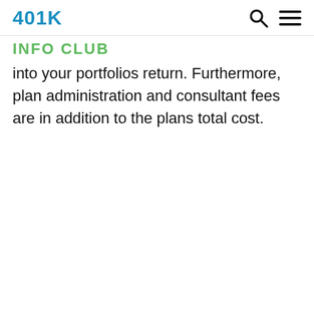401K
INFO CLUB
into your portfolios return. Furthermore, plan administration and consultant fees are in addition to the plans total cost.